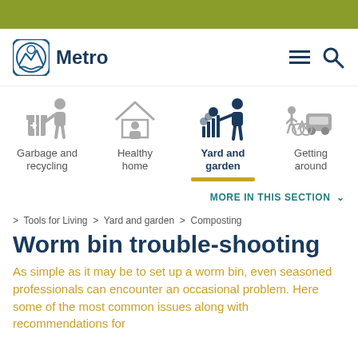[Figure (logo): Metro government logo with stylized leaf/mountain/wave icon and 'Metro' text]
[Figure (infographic): Navigation category icons: Garbage and recycling (person with trash bin), Healthy home (house with person), Yard and garden (person gardening, active/selected), Getting around (person walking/biking/driving)]
MORE IN THIS SECTION ∨
> Tools for Living > Yard and garden > Composting
Worm bin trouble-shooting
As simple as it may be to set up a worm bin, even seasoned professionals can encounter an occasional problem. Here some of the most common issues along with recommendations for